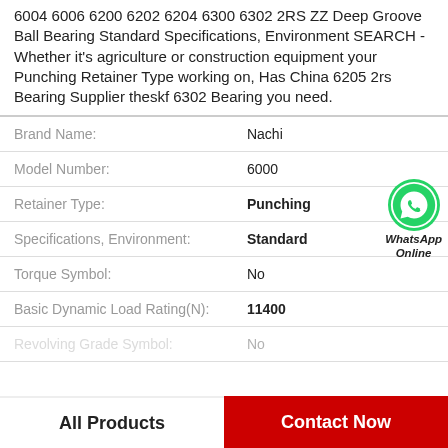6004 6006 6200 6202 6204 6300 6302 2RS ZZ Deep Groove Ball Bearing Standard Specifications, Environment SEARCH - Whether it's agriculture or construction equipment your Punching Retainer Type working on, Has China 6205 2rs Bearing Supplier theskf 6302 Bearing you need.
| Brand Name: | Nachi |
| Model Number: | 6000 |
| Retainer Type: | Punching |
| Specifications, Environment: | Standard |
| Torque Symbol: | No |
| Basic Dynamic Load Rating(N): | 11400 |
| Revolving Grade Symbol: | No |
[Figure (logo): WhatsApp Online green phone icon badge with text 'WhatsApp Online']
All Products   Contact Now